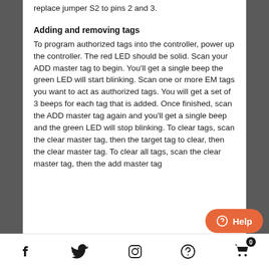replace jumper S2 to pins 2 and 3.
Adding and removing tags
To program authorized tags into the controller, power up the controller. The red LED should be solid. Scan your ADD master tag to begin. You'll get a single beep the green LED will start blinking. Scan one or more EM tags you want to act as authorized tags. You will get a set of 3 beeps for each tag that is added. Once finished, scan the ADD master tag again and you'll get a single beep and the green LED will stop blinking. To clear tags, scan the clear master tag, then the target tag to clear, then the clear master tag. To clear all tags, scan the clear master tag, then the add master tag...
Social icons: Facebook, Twitter, Instagram, Help, Cart (0)